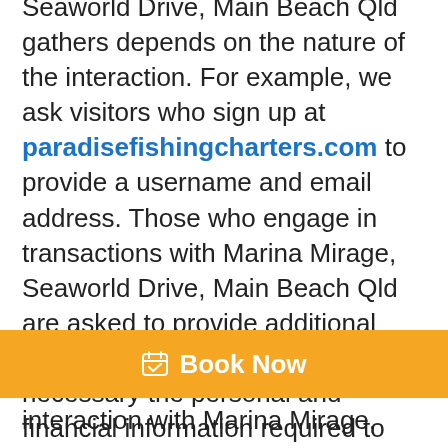Seaworld Drive, Main Beach Qld gathers depends on the nature of the interaction. For example, we ask visitors who sign up at paradisefishingcharters.com to provide a username and email address. Those who engage in transactions with Marina Mirage, Seaworld Drive, Main Beach Qld are asked to provide additional information, including as necessary the personal and financial information required to process those transactions. In each case, Marina Mirage, Seaworld Drive, Main Beach Qld collects such information only insofar as is necessary or appropriate
[Figure (other): Orange Book Now button bar with calendar icon]
interaction with Marina Mirage,